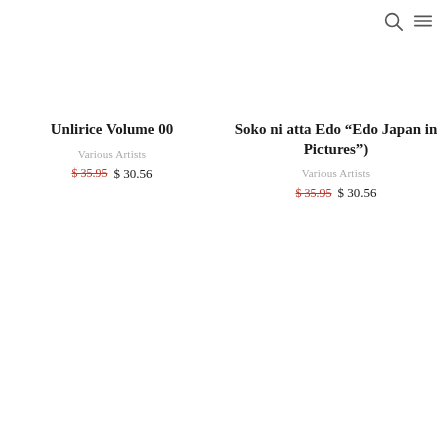[Figure (screenshot): Navigation icons: search (magnifying glass) and hamburger menu in top right corner]
Unlirice Volume 00
Various Artists
$ 35.95  $ 30.56
Soko ni atta Edo (“Edo Japan in Pictures”)
Various Artists
$ 35.95  $ 30.56